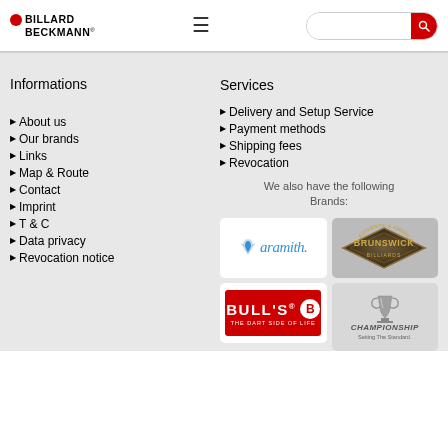Billard Beckmann header with logo, hamburger menu, and search bar
Informations
About us
Our brands
Links
Map & Route
Contact
Imprint
T & C
Data privacy
Revocation notice
Services
Delivery and Setup Service
Payment methods
Shipping fees
Revocation
We also have the following Brands:
[Figure (logo): Aramith brand logo]
[Figure (logo): Brunswick Billiards brand logo]
[Figure (logo): BULL'S The Dart Side of Life brand logo]
[Figure (logo): Championship Setting The Standard brand logo]